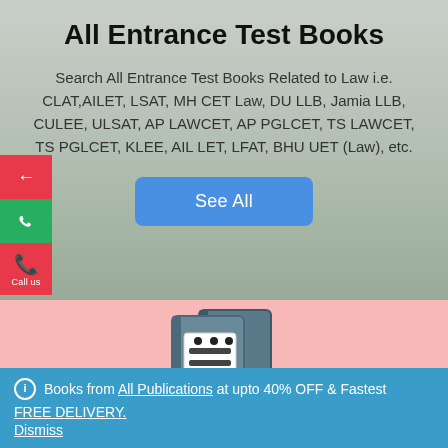All Entrance Test Books
Search All Entrance Test Books Related to Law i.e. CLAT,AILET, LSAT, MH CET Law, DU LLB, Jamia LLB, CULEE, ULSAT, AP LAWCET, AP PGLCET, TS LAWCET, TS PGLCET, KLEE, AIL LET, LFAT, BHU UET (Law), etc.
[Figure (illustration): Blue 'See All' button]
[Figure (illustration): Book cartoon illustration on pink background]
Books from All Publications at upto 40% OFF & Fastest FREE DELIVERY.
Dismiss